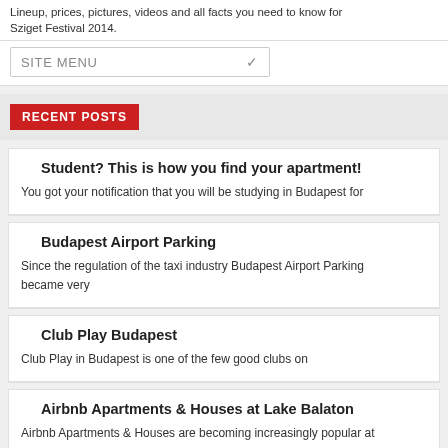Lineup, prices, pictures, videos and all facts you need to know for Sziget Festival 2014.
SITE MENU
RECENT POSTS
Student? This is how you find your apartment!
You got your notification that you will be studying in Budapest for
Budapest Airport Parking
Since the regulation of the taxi industry Budapest Airport Parking became very
Club Play Budapest
Club Play in Budapest is one of the few good clubs on
Airbnb Apartments & Houses at Lake Balaton
Airbnb Apartments & Houses are becoming increasingly popular at Lake Balaton with